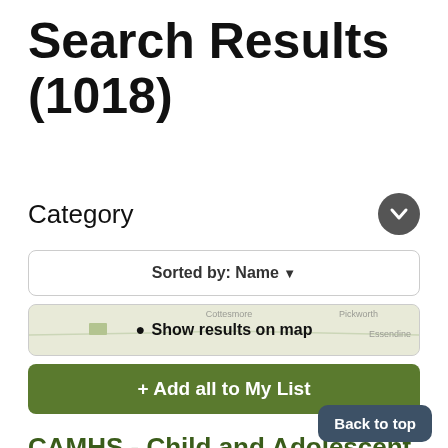Search Results (1018)
Category
Sorted by: Name ▾
📍 Show results on map
+ Add all to My List
CAMHS - Child and Adolescent Mental Health Service
The Child and Adolescent Mental